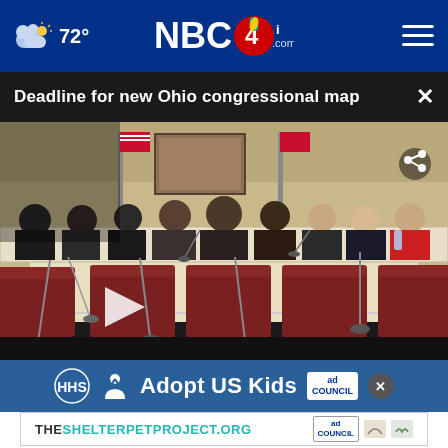72° NBC4i.com
Deadline for new Ohio congressional map
[Figure (screenshot): Video thumbnail showing a congressional hearing room with people seated at a long table, empty chairs with microphones in the foreground, US flags in the background, and a play button overlay. A share icon is visible in the upper right of the video.]
Adopt US Kids
THESHELTERPETPROJECT.ORG